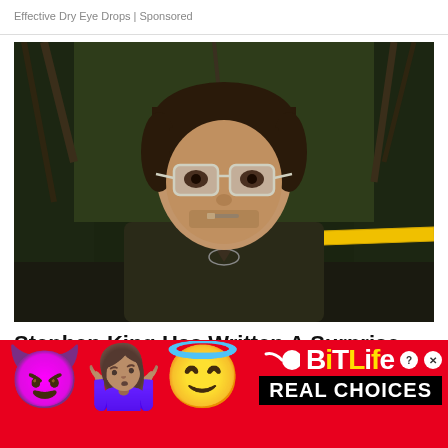Effective Dry Eye Drops | Sponsored
[Figure (photo): Man with dark hair and large clear-framed glasses wearing a dark jacket, standing outdoors in a wooded area. He has something in his mouth (possibly a cigarette). Yellow caution tape visible in background.]
Stephen King Has Written A Surprise Sequel To One Of His Scariest Books
[Figure (infographic): BitLife mobile game advertisement on red background. Shows three emojis: purple devil face, woman shrugging (medium skin tone), smiling angel face with halo. Right side shows BitLife logo in white and yellow text with a sperm icon, question mark button, close button, and 'REAL CHOICES' text in black banner.]